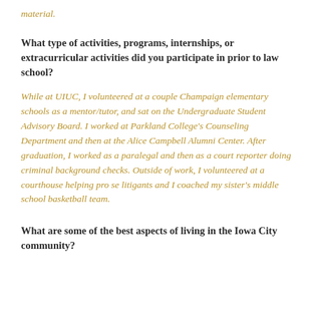material.
What type of activities, programs, internships, or extracurricular activities did you participate in prior to law school?
While at UIUC, I volunteered at a couple Champaign elementary schools as a mentor/tutor, and sat on the Undergraduate Student Advisory Board. I worked at Parkland College's Counseling Department and then at the Alice Campbell Alumni Center. After graduation, I worked as a paralegal and then as a court reporter doing criminal background checks. Outside of work, I volunteered at a courthouse helping pro se litigants and I coached my sister's middle school basketball team.
What are some of the best aspects of living in the Iowa City community?